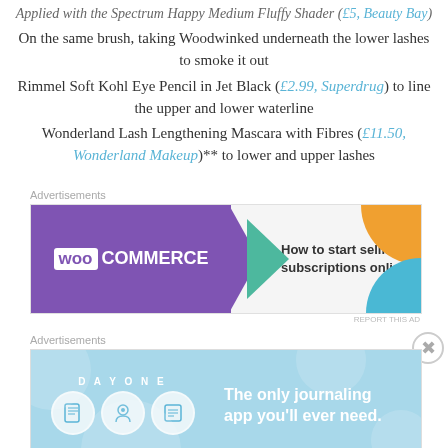Applied with the Spectrum Happy Medium Fluffy Shader (£5, Beauty Bay)
On the same brush, taking Woodwinked underneath the lower lashes to smoke it out
Rimmel Soft Kohl Eye Pencil in Jet Black (£2.99, Superdrug) to line the upper and lower waterline
Wonderland Lash Lengthening Mascara with Fibres (£11.50, Wonderland Makeup)** to lower and upper lashes
Advertisements
[Figure (screenshot): WooCommerce advertisement banner: How to start selling subscriptions online]
Advertisements
[Figure (screenshot): Day One journaling app advertisement: The only journaling app you'll ever need.]